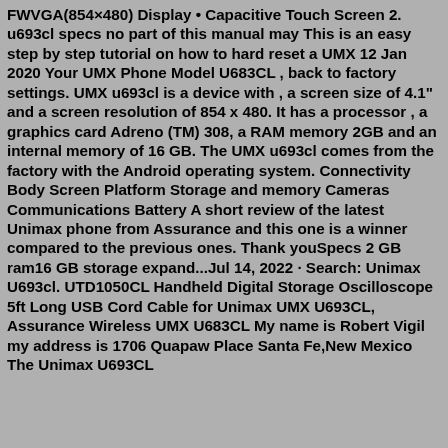FWVGA(854×480) Display • Capacitive Touch Screen 2. u693cl specs no part of this manual may This is an easy step by step tutorial on how to hard reset a UMX 12 Jan 2020 Your UMX Phone Model U683CL , back to factory settings. UMX u693cl is a device with , a screen size of 4.1" and a screen resolution of 854 x 480. It has a processor , a graphics card Adreno (TM) 308, a RAM memory 2GB and an internal memory of 16 GB. The UMX u693cl comes from the factory with the Android operating system. Connectivity Body Screen Platform Storage and memory Cameras Communications Battery A short review of the latest Unimax phone from Assurance and this one is a winner compared to the previous ones. Thank youSpecs 2 GB ram16 GB storage expand...Jul 14, 2022 · Search: Unimax U693cl. UTD1050CL Handheld Digital Storage Oscilloscope 5ft Long USB Cord Cable for Unimax UMX U693CL, Assurance Wireless UMX U683CL My name is Robert Vigil my address is 1706 Quapaw Place Santa Fe,New Mexico The Unimax U693CL specs show a screen resolution th